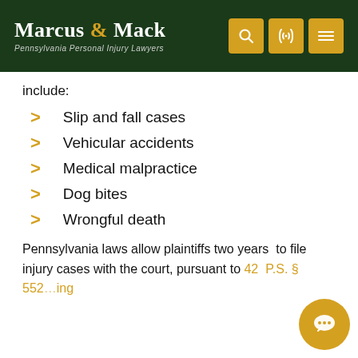Marcus & Mack — Pennsylvania Personal Injury Lawyers
include:
Slip and fall cases
Vehicular accidents
Medical malpractice
Dog bites
Wrongful death
Pennsylvania laws allow plaintiffs two years to file injury cases with the court, pursuant to 42 P.S. § 5524…ing